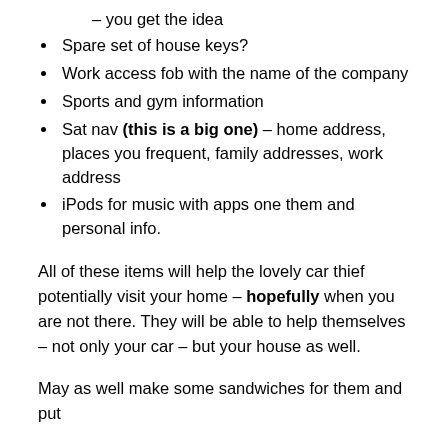– you get the idea
Spare set of house keys?
Work access fob with the name of the company
Sports and gym information
Sat nav (this is a big one) – home address, places you frequent, family addresses, work address
iPods for music with apps one them and personal info.
All of these items will help the lovely car thief potentially visit your home – hopefully when you are not there. They will be able to help themselves – not only your car – but your house as well.
May as well make some sandwiches for them and put